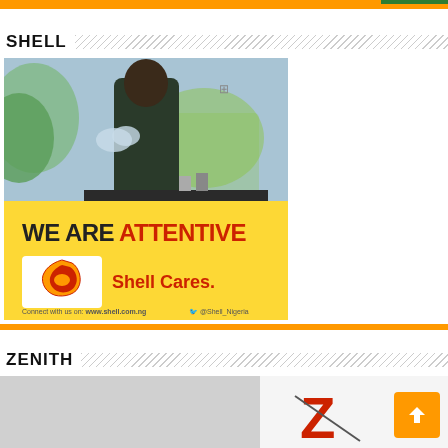SHELL
[Figure (photo): Shell Nigeria advertisement showing a man standing in front of a world map graphic with 'WE ARE ATTENTIVE' text in black and red on yellow background, Shell logo and 'Shell Cares.' text, website www.shell.com.ng and Twitter @Shell_Nigeria]
ZENITH
[Figure (logo): Zenith Bank advertisement with large grey area and Zenith Z logo partially visible]